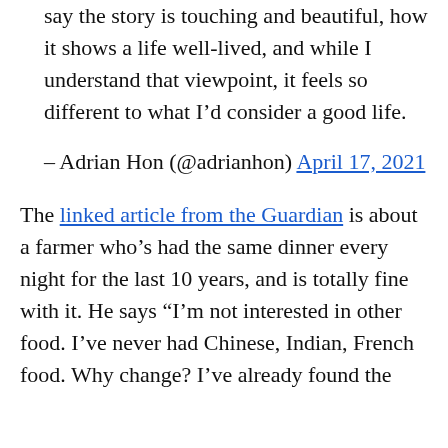say the story is touching and beautiful, how it shows a life well-lived, and while I understand that viewpoint, it feels so different to what I'd consider a good life.
– Adrian Hon (@adrianhon) April 17, 2021
The linked article from the Guardian is about a farmer who's had the same dinner every night for the last 10 years, and is totally fine with it. He says "I'm not interested in other food. I've never had Chinese, Indian, French food. Why change? I've already found the